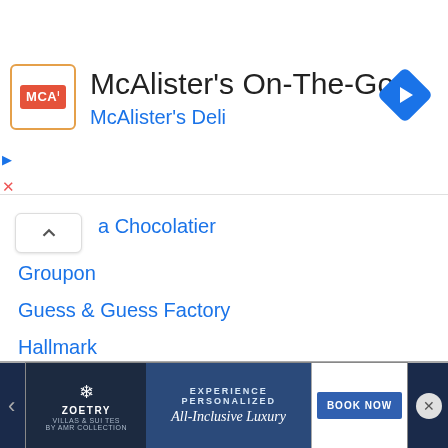[Figure (screenshot): McAlister's On-The-Go app advertisement banner with MCA logo, title text, and navigation arrow icon]
a Chocolatier
Groupon
Guess & Guess Factory
Hallmark
Harvey's
Hatley
H&M
Home Outfitters
Hudson's Bay
IKEA
Indigo Chapters
Jack & Jones
Jean Machine
Joe Fresh
[Figure (screenshot): Zoetry Villas & Suites bottom advertisement banner with 'Experience Personalized All-Inclusive Luxury' text and Book Now button]